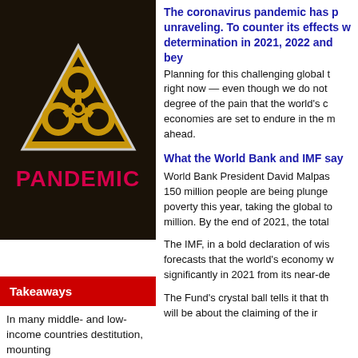[Figure (illustration): Biohazard warning triangle symbol on dark background with the word PANDEMIC in red below it]
Takeaways
In many middle- and low-income countries destitution, mounting
The coronavirus pandemic has put progress on unraveling. To counter its effects will require determination in 2021, 2022 and beyond.
Planning for this challenging global right now — even though we do not degree of the pain that the world's economies are set to endure in the months ahead.
What the World Bank and IMF say
World Bank President David Malpass 150 million people are being plunged into poverty this year, taking the global total million. By the end of 2021, the total
The IMF, in a bold declaration of wisdom, forecasts that the world's economy will recover significantly in 2021 from its near-death
The Fund's crystal ball tells it that this will be about the claiming of the